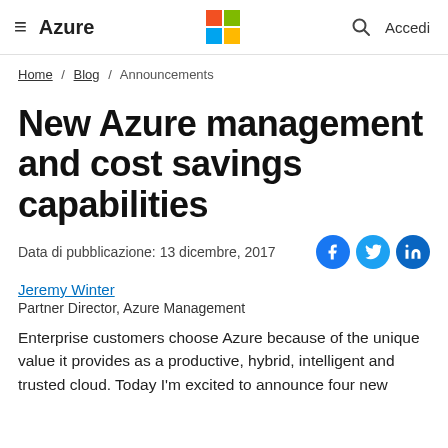Azure | Microsoft Logo | Search | Accedi
Home / Blog / Announcements
New Azure management and cost savings capabilities
Data di pubblicazione: 13 dicembre, 2017
Jeremy Winter
Partner Director, Azure Management
Enterprise customers choose Azure because of the unique value it provides as a productive, hybrid, intelligent and trusted cloud. Today I'm excited to announce four new